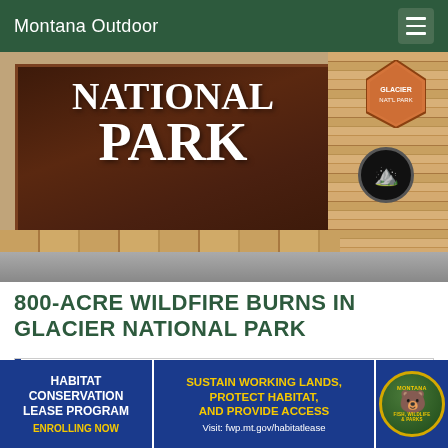Montana Outdoor
[Figure (photo): Entrance sign for a National Park made of dark wood with white text reading NATIONAL PARK, next to a stone pillar with layered tan/orange stones, an arrowhead badge visible at top right.]
800-ACRE WILDFIRE BURNS IN GLACIER NATIONAL PARK
[Figure (photo): Advertisement for Karl Tyler dealership showing the logo with red italic text KARL TYLER and blue chevron accents on white background.]
[Figure (infographic): Bottom banner ad for Montana Fish, Wildlife & Parks Habitat Conservation Lease Program. Left section: navy blue background, white text HABITAT CONSERVATION LEASE PROGRAM, yellow text ENROLLING NOW. Middle section: navy blue background, yellow text SUSTAIN WORKING LANDS, PROTECT HABITAT, AND PROVIDE ACCESS, white text Visit: fwp.mt.gov/habitatlease. Right section: circular badge with bear silhouette and MONTANA FISH, WILDLIFE & PARKS text.]